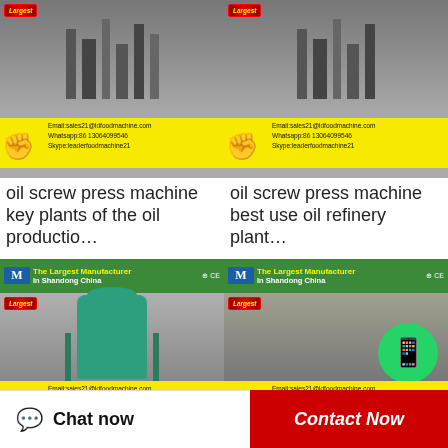[Figure (photo): Oil screw press machine product image with manufacturer branding banner (yellow footer with contact info, fist icon, 'Largest' badge). Top shows steel machinery background.]
oil screw press machine key plants of the oil productio…
[Figure (photo): Oil screw press machine product image with manufacturer branding banner and contact info.]
oil screw press machine best use oil refinery plant…
[Figure (photo): High pressure full automatic oil press machine - large green cylindrical tank in factory. Manufacturer banner: The Largest Manufacturer In Shandong China ISO CE.]
High pressure Full
[Figure (photo): High efficiency 6YL-160 oil press machine with WhatsApp Online overlay icon. Manufacturer banner: The Largest Manufacturer In Shandong China ISO CE.]
high efficiency 6YL-160
Chat now
Contact Now